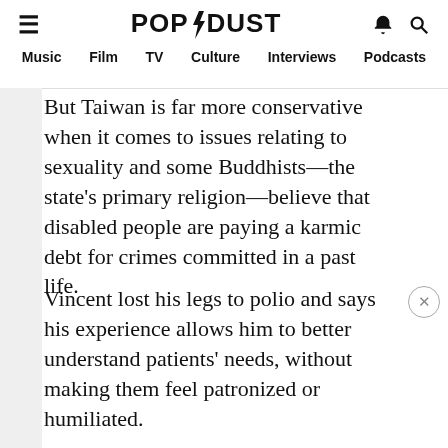POPDUST — Music  Film  TV  Culture  Interviews  Podcasts
But Taiwan is far more conservative when it comes to issues relating to sexuality and some Buddhists—the state's primary religion—believe that disabled people are paying a karmic debt for crimes committed in a past life.
Vincent lost his legs to polio and says his experience allows him to better understand patients' needs, without making them feel patronized or humiliated.